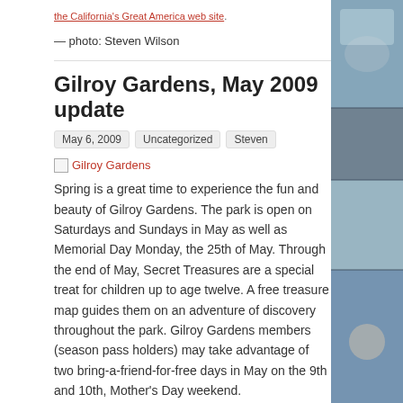the California's Great America web site.
— photo: Steven Wilson
Gilroy Gardens, May 2009 update
May 6, 2009   Uncategorized   Steven
[Figure (other): Broken image placeholder with link text 'Gilroy Gardens']
Spring is a great time to experience the fun and beauty of Gilroy Gardens. The park is open on Saturdays and Sundays in May as well as Memorial Day Monday, the 25th of May. Through the end of May, Secret Treasures are a special treat for children up to age twelve. A free treasure map guides them on an adventure of discovery throughout the park. Gilroy Gardens members (season pass holders) may take advantage of two bring-a-friend-for-free days in May on the 9th and 10th, Mother's Day weekend.
[Figure (photo): Partial photo of trees/foliage at bottom of page]